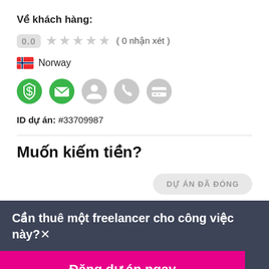Về khách hàng:
0.0  ★★★★★ ( 0 nhận xét )
🇳🇴 Norway
[Figure (illustration): Five verification/badge icons: green dollar shield, green mail envelope, gray person silhouette, gray phone, gray credit card]
ID dự án: #33709987
Muốn kiếm tiền?
DỰ ÁN ĐÃ ĐÓNG
Cần thuê một freelancer cho công việc này? ×
Đăng dự án ngay